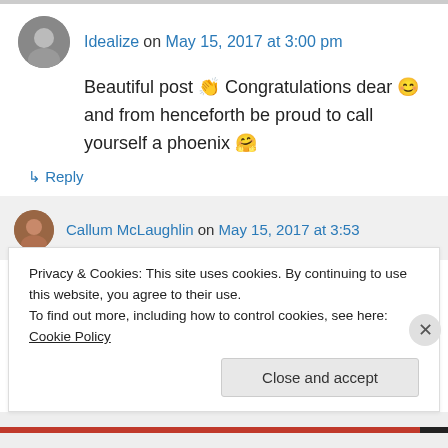Idealize on May 15, 2017 at 3:00 pm
Beautiful post 👏 Congratulations dear 😊 and from henceforth be proud to call yourself a phoenix 🤗
↳ Reply
Callum McLaughlin on May 15, 2017 at 3:53
Privacy & Cookies: This site uses cookies. By continuing to use this website, you agree to their use.
To find out more, including how to control cookies, see here: Cookie Policy
Close and accept